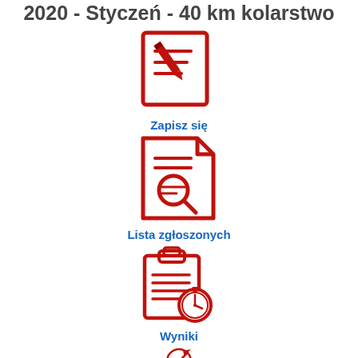2020 - Styczeń - 40 km kolarstwo
[Figure (infographic): Red icon of a document with a pencil writing on it (sign-up icon)]
Zapisz się
[Figure (infographic): Red icon of a document with a magnifying glass (registered list icon)]
Lista zgłoszonych
[Figure (infographic): Red icon of a clipboard with a stopwatch/timer (results icon)]
Wyniki
[Figure (infographic): Red icon partially visible at bottom of page (cycling/sports related icon)]